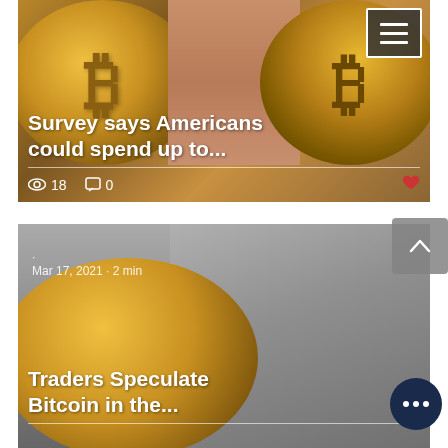[Figure (photo): Bitcoin coins close-up with person's eyes/nose visible behind them, showing a news article card with title, view count, and comment count]
Survey says Americans could spend up to...
18  0
[Figure (photo): Person (Elon Musk) holding a large gold Bitcoin coin, news article card with date and title]
Mar 17, 2021  •  2 min
Traders Speculate Bitcoin in the...